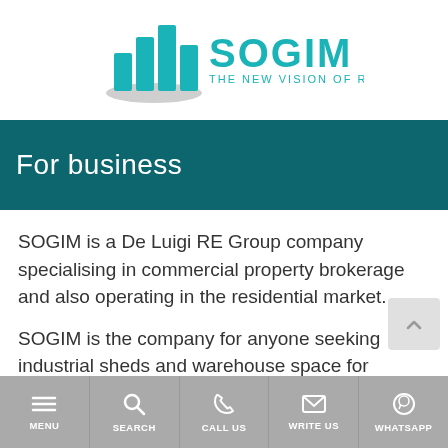[Figure (logo): SOGIM logo with teal building/bar chart icon and text 'SOGIM THE NEW VISION OF REAL ESTATE']
For business
SOGIM is a De Luigi RE Group company specialising in commercial property brokerage and also operating in the residential market.
SOGIM is the company for anyone seeking industrial sheds and warehouse space for logistics purposes
MENU   SEARCH   CALL US   WRITE US   WHATSAPP